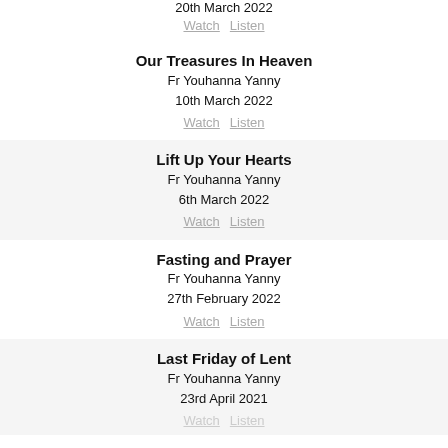20th March 2022
Watch   Listen
Our Treasures In Heaven
Fr Youhanna Yanny
10th March 2022
Watch   Listen
Lift Up Your Hearts
Fr Youhanna Yanny
6th March 2022
Watch   Listen
Fasting and Prayer
Fr Youhanna Yanny
27th February 2022
Watch   Listen
Last Friday of Lent
Fr Youhanna Yanny
23rd April 2021
Watch   Listen